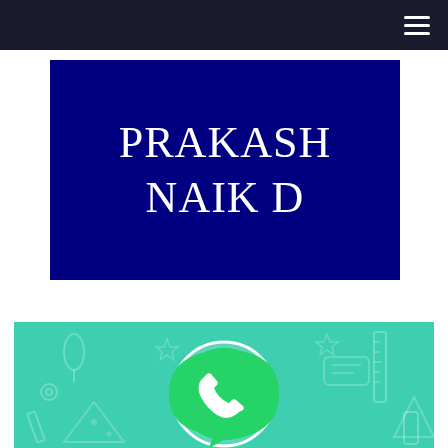PRAKASH NAIK D
[Figure (logo): WhatsApp logo on a teal/turquoise decorative background with outline icons of various objects (pizza, ruler, stars, pencil, speech bubbles). A large white-outlined green circle contains the classic WhatsApp phone handset icon with a speech bubble tail.]